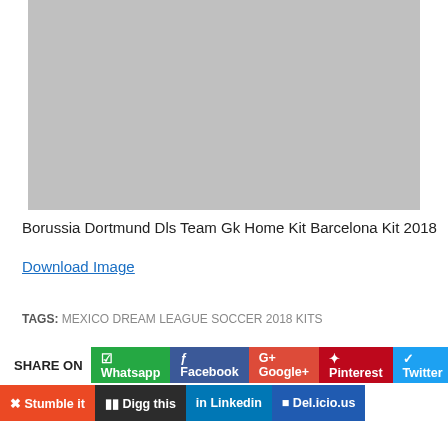[Figure (photo): Gray placeholder image for Borussia Dortmund Dls Team Gk Home Kit Barcelona Kit 2018]
Borussia Dortmund Dls Team Gk Home Kit Barcelona Kit 2018
Download Image
TAGS: MEXICO DREAM LEAGUE SOCCER 2018 KITS
SHARE ON  Whatsapp  Facebook  Google+  Pinterest  Twitter  Stumble it  Digg this  Linkedin  Del.icio.us